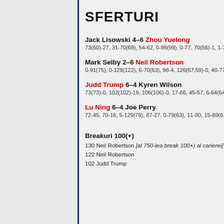SFERTURI
Jack Lisowski 4–6 Zhou Yuelong
73(60)-27, 31-70(69), 54-62, 0-99(99), 0-77, 70(56)-1, 1-7...
Mark Selby 2–6 Neil Robertson
0-91(75), 0-128(122), 6-70(63), 98-4, 126(67,59)-0, 40-77...
Judd Trump 6–4 Kyren Wilson
73(73)-0, 102(102)-19, 106(106)-0, 17-66, 45-57, 6-64(64...
Lu Ning 6–4 Joe Perry
72-45, 70-16, 5-129(76), 87-27, 0-79(63), 11-80, 15-69(6...
Breakuri 100(+)
130 Neil Robertson [al 750-lea break 100+) al carierei]
122 Neil Robertson
102 Judd Trump